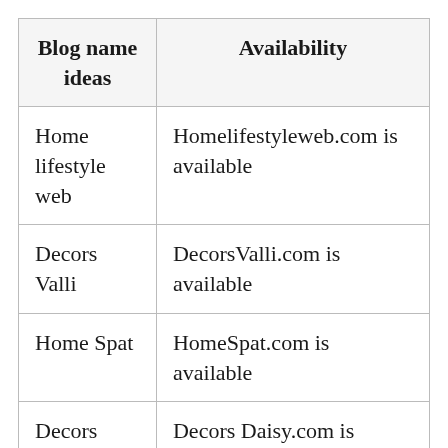| Blog name ideas | Availability |
| --- | --- |
| Home lifestyle web | Homelifestyleweb.com is available |
| Decors Valli | DecorsValli.com is available |
| Home Spat | HomeSpat.com is available |
| Decors Daisy | Decors Daisy.com is available |